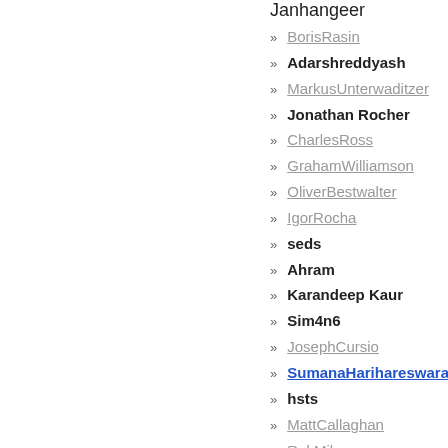Janhangeer
BorisRasin
Adarshreddyash
MarkusUnterwaditzer
Jonathan Rocher
CharlesRoss
GrahamWilliamson
OliverBestwalter
IgorRocha
seds
Ahram
Karandeep Kaur
Sim4n6
JosephCursio
SumanaHarihareswara
hsts
MattCallaghan
RokMihevc
IanKelling